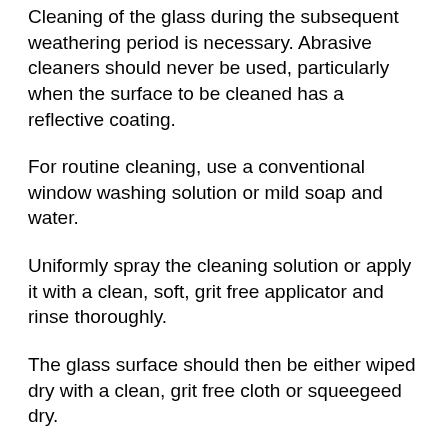Cleaning of the glass during the subsequent weathering period is necessary. Abrasive cleaners should never be used, particularly when the surface to be cleaned has a reflective coating.
For routine cleaning, use a conventional window washing solution or mild soap and water.
Uniformly spray the cleaning solution or apply it with a clean, soft, grit free applicator and rinse thoroughly.
The glass surface should then be either wiped dry with a clean, grit free cloth or squeegeed dry.
Do not allow any metal or hard parts of the